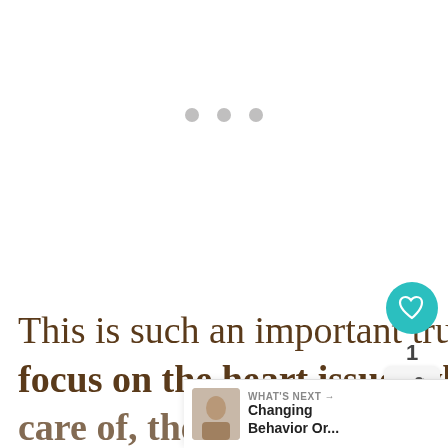[Figure (other): Three gray dots indicating a loading indicator or pagination]
This is such an important truth to remember! If we focus on the heart issue, when that is taken care of, the behavior will be
[Figure (other): Favorite/like button (teal circle with heart icon) showing count of 1, and a share button below]
[Figure (other): WHAT'S NEXT banner showing 'Changing Behavior Or...' with a small thumbnail image]